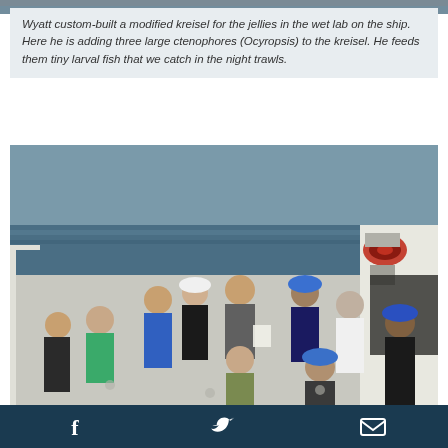[Figure (photo): Top edge of a photo showing people on a ship deck, partially visible]
Wyatt custom-built a modified kreisel for the jellies in the wet lab on the ship. Here he is adding three large ctenophores (Ocyropsis) to the kreisel. He feeds them tiny larval fish that we catch in the night trawls.
[Figure (photo): Group of people standing on the deck of a research vessel at sea. Several people are wearing blue hard hats. The ocean is visible in the background. A red hose is coiled on the ship railing. People are in casual/work clothes.]
Facebook icon | Twitter icon | Email icon